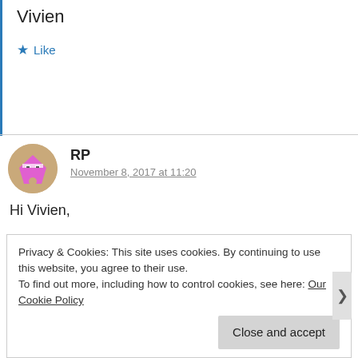Vivien
★ Like
RP
November 8, 2017 at 11:20
Hi Vivien,

Thank you so much for doing what you do.

I am unsure of my interpretations of my cards. Is this correct? Please advice.
Privacy & Cookies: This site uses cookies. By continuing to use this website, you agree to their use.
To find out more, including how to control cookies, see here: Our Cookie Policy
Close and accept